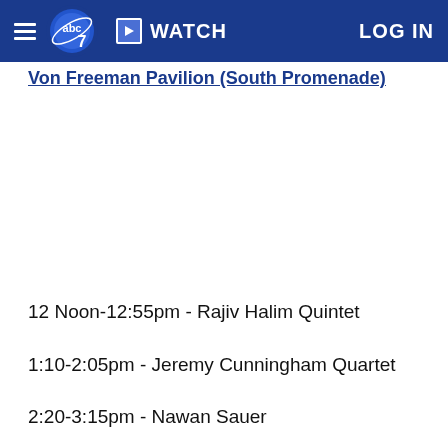abc7 | WATCH | LOG IN
Von Freeman Pavilion (South Promenade)
12 Noon-12:55pm - Rajiv Halim Quintet
1:10-2:05pm - Jeremy Cunningham Quartet
2:20-3:15pm - Nawan Sauer